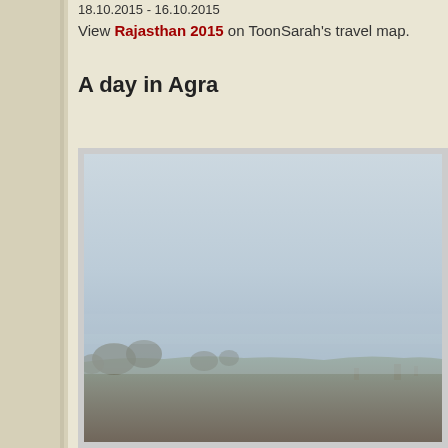18.10.2015 - 16.10.2015
View Rajasthan 2015 on ToonSarah's travel map.
A day in Agra
[Figure (photo): Hazy landscape photo, likely taken in Agra, India. The sky is pale grey-blue with heavy haze. In the lower portion, a distant treeline and horizon with low buildings or structures are barely visible through the mist.]